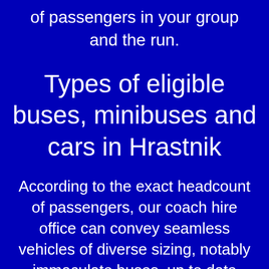of passengers in your group and the run.
Types of eligible buses, minibuses and cars in Hrastnik
According to the exact headcount of passengers, our coach hire office can convey seamless vehicles of diverse sizing, notably immaculate buses, up to date coaches, as well